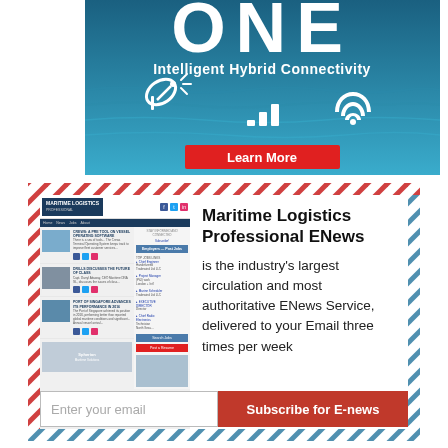[Figure (infographic): ONE Intelligent Hybrid Connectivity advertisement banner over ocean background with satellite, signal bars and WiFi icons, and a red Learn More button]
[Figure (infographic): Maritime Logistics Professional ENews newsletter advertisement showing a screenshot of the website with articles and job listings on the left, and promotional text on the right stating it is the industry's largest circulation and most authoritative ENews Service, delivered to your Email three times per week. Below is an email subscription bar with Enter your email field and Subscribe for E-news button.]
Maritime Logistics Professional ENews is the industry's largest circulation and most authoritative ENews Service, delivered to your Email three times per week